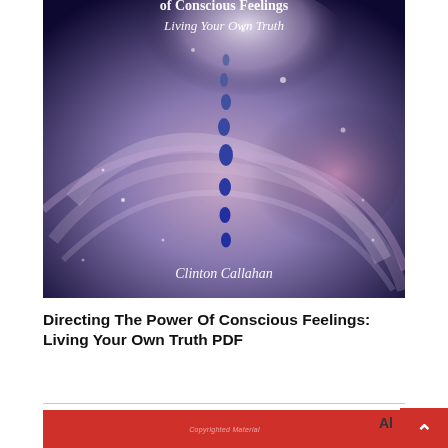[Figure (illustration): Book cover for 'Directing The Power of Conscious Feelings: Living Your Own Truth' by Clinton Callahan. Features a swirling cosmic/galaxy background in deep blue, purple, and pink tones with a vertical stream of water droplets in the center. Title text partially visible at top, subtitle 'Living Your Own Truth' in italic, and author name 'Clinton Callahan' in white italic at bottom.]
Directing The Power Of Conscious Feelings: Living Your Own Truth PDF
[Figure (screenshot): Red background block with watermarked text 'Copyrighted Material' in center and social media sharing icons partially visible at bottom.]